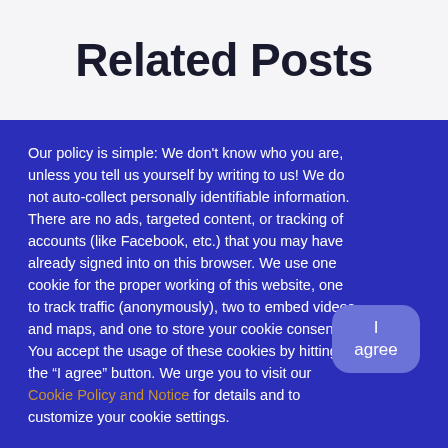Related Posts
Our policy is simple: We don't know who you are, unless you tell us yourself by writing to us! We do not auto-collect personally identifiable information. There are no ads, targeted content, or tracking of accounts (like Facebook, etc.) that you may have already signed into on this browser. We use one cookie for the proper working of this website, one to track traffic (anonymously), two to embed videos and maps, and one to store your cookie consent. You accept the usage of these cookies by hitting the “I agree” button. We urge you to visit our Cookie Policy and Notice for details and to customize your cookie settings.